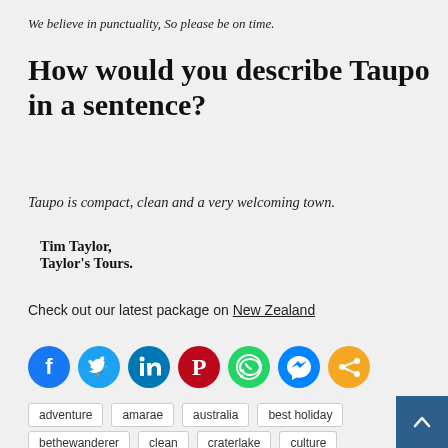We believe in punctuality, So please be on time.
How would you describe Taupo in a sentence?
Taupo is compact, clean and a very welcoming town.
Tim Taylor,
Taylor's Tours.
Check out our latest package on New Zealand
[Figure (infographic): Social media share icons row: Facebook (dark blue), Twitter (light blue), LinkedIn (blue), Pinterest (red), WhatsApp (green), Messenger (blue), Share (orange)]
adventure
amarae
australia
best holiday
bethewanderer
clean
craterlake
culture